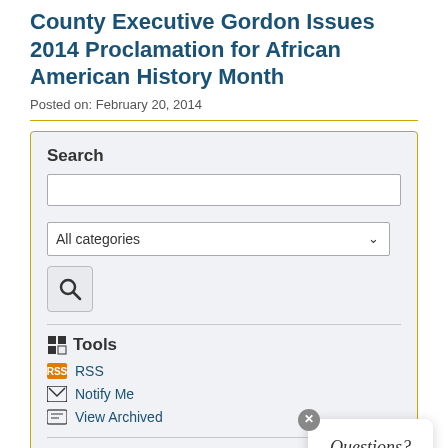County Executive Gordon Issues 2014 Proclamation for African American History Month
Posted on: February 20, 2014
Search
Tools
RSS
Notify Me
View Archived
Categories
All Categories
Police